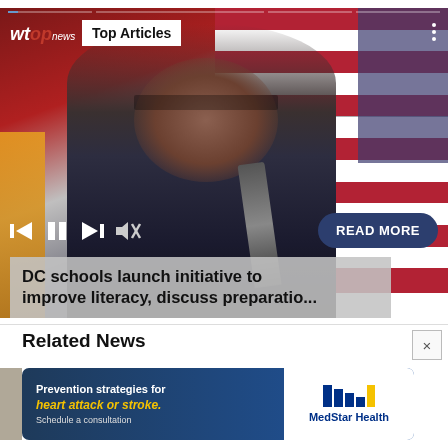[Figure (screenshot): WTOP News video player showing a man speaking at a microphone in front of American flags. Overlay shows WTOP news logo, Top Articles badge, media playback controls, mute icon, and a READ MORE button.]
DC schools launch initiative to improve literacy, discuss preparatio...
Related News
[Figure (other): Advertisement banner for MedStar Health: 'Prevention strategies for heart attack or stroke. Schedule a consultation.' with MedStar Health logo.]